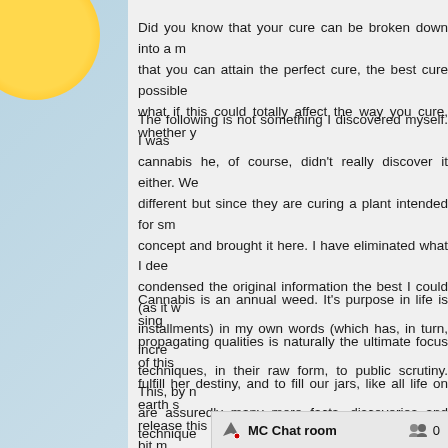Did you know that your cure can be broken down into a m... that you can attain the perfect cure, the best cure possible... what if this could totally affect the way you cure, whether y...
The following is not something I discovered myself. I was ... cannabis he, of course, didn't really discover it either. We... different but since they are curing a plant intended for sm... concept and brought it here. I have eliminated what I dee... condensed the original information the best I could (as it w... installments) in my own words (which has, in turn, incre... techniques, in their raw form, to public scrutiny. This, by n... are assuredly many more facts, discoveries and technique...
Cannabis is an annual weed. It's purpose in life is sing... propagating qualities is naturally the ultimate focus of this ... fulfill her destiny, and to fill our jars, like all life on earth s... release this water. The cure, on the other hand, is a bit m... over time. It is this juggling act t... bud of a cannabis plant contin...
MC Chat room  0